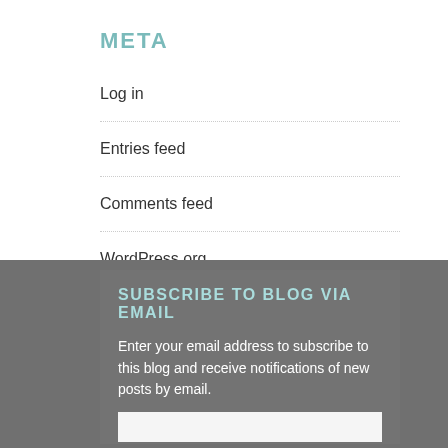META
Log in
Entries feed
Comments feed
WordPress.org
SUBSCRIBE TO BLOG VIA EMAIL
Enter your email address to subscribe to this blog and receive notifications of new posts by email.